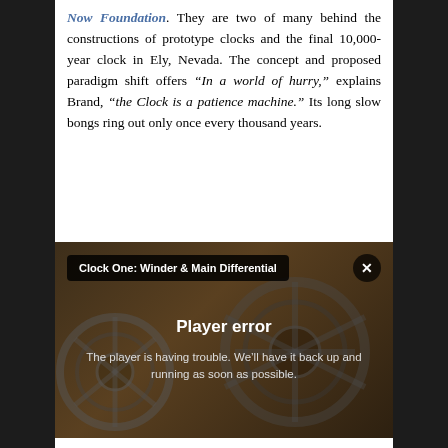Now Foundation. They are two of many behind the constructions of prototype clocks and the final 10,000-year clock in Ely, Nevada. The concept and proposed paradigm shift offers “In a world of hurry,” explains Brand, “the Clock is a patience machine.” Its long slow bongs ring out only once every thousand years.
[Figure (screenshot): Video player showing 'Clock One: Winder & Main Differential' with a player error overlay message: 'Player error - The player is having trouble. We’ll have it back up and running as soon as possible.' Background shows mechanical clock gears.]